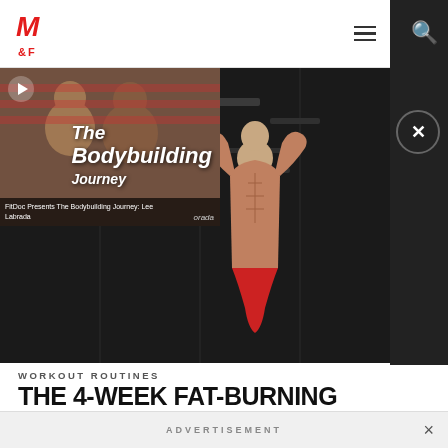M&F — Muscle & Fitness navigation bar
[Figure (screenshot): Website screenshot of Muscle & Fitness (M&F) showing a hero image of a muscular shirtless male bodybuilder in red shorts posing in a gym, overlaid with a video thumbnail for 'FitDoc Presents The Bodybuilding Journey: Lee Labrada' featuring text 'The Bodybuilding Journey']
WORKOUT ROUTINES
THE 4-WEEK FAT-BURNING SUPERSET PLAN
Who says lifting weights doesn't burn fat? This 4-week program comprised entirely of...
READ ARTICLE
ADVERTISEMENT